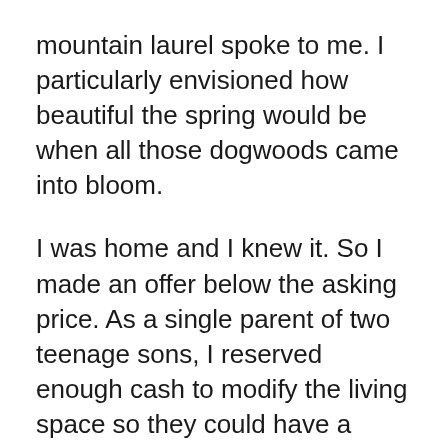mountain laurel spoke to me. I particularly envisioned how beautiful the spring would be when all those dogwoods came into bloom.
I was home and I knew it. So I made an offer below the asking price. As a single parent of two teenage sons, I reserved enough cash to modify the living space so they could have a room of their own. The offer was too quickly accepted which dismayed me since that meant I could have bid even lower. But, oh well, what's done is done. I had the garden I dreamed of.